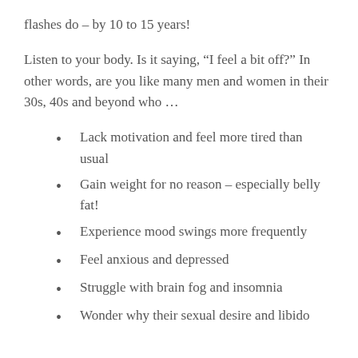flashes do – by 10 to 15 years!
Listen to your body. Is it saying, “I feel a bit off?” In other words, are you like many men and women in their 30s, 40s and beyond who …
Lack motivation and feel more tired than usual
Gain weight for no reason – especially belly fat!
Experience mood swings more frequently
Feel anxious and depressed
Struggle with brain fog and insomnia
Wonder why their sexual desire and libido